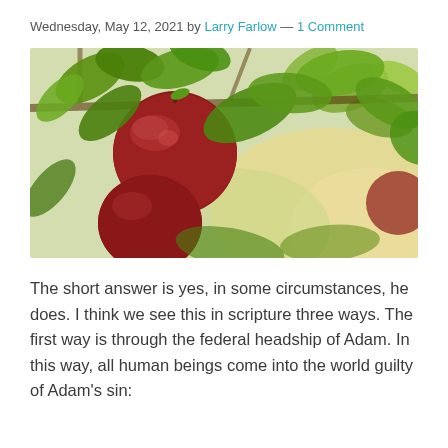Wednesday, May 12, 2021 by Larry Farlow — 1 Comment
[Figure (photo): Close-up photo of red apples hanging on a tree branch with green leaves, backlit by warm sunlight.]
The short answer is yes, in some circumstances, he does. I think we see this in scripture three ways. The first way is through the federal headship of Adam. In this way, all human beings come into the world guilty of Adam's sin: